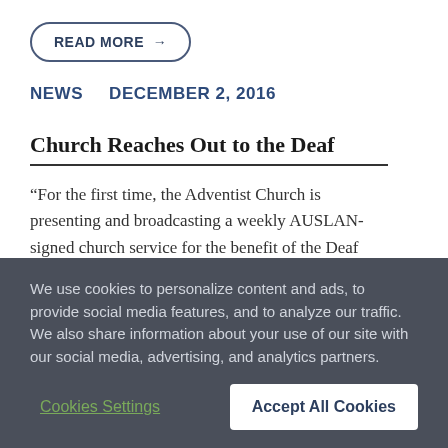[Figure (other): READ MORE button with right arrow, pill-shaped border]
NEWS    DECEMBER 2, 2016
Church Reaches Out to the Deaf
“For the first time, the Adventist Church is presenting and broadcasting a weekly AUSLAN-signed church service for the benefit of the Deaf community. New Hope, a church plant at Quakers Hill in…
We use cookies to personalize content and ads, to provide social media features, and to analyze our traffic. We also share information about your use of our site with our social media, advertising, and analytics partners.
Cookies Settings    Accept All Cookies